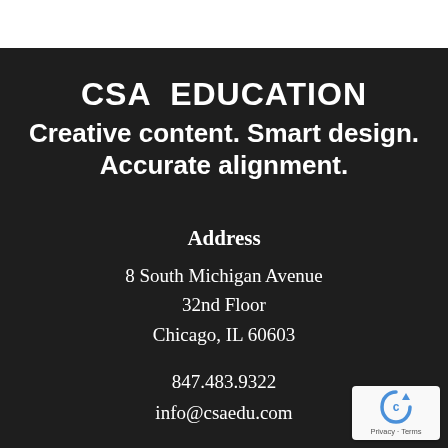CSA EDUCATION
Creative content. Smart design. Accurate alignment.
Address
8 South Michigan Avenue
32nd Floor
Chicago, IL 60603
847.483.9322
info@csaedu.com
[Figure (logo): reCAPTCHA privacy badge with circular arrow logo and 'Privacy - Terms' text]